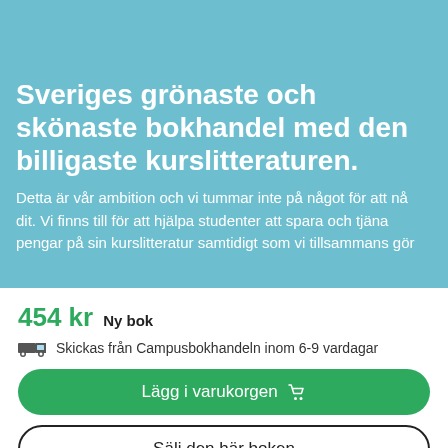[Figure (illustration): Decorative illustration with light pink shapes and a green triangle on a blue/teal background]
Sveriges grönaste och skönaste bokhandel med den billigaste kurslitteraturen.
Detta är vår ambition och vi tummar inte på något för att nå dit. Vi finns till för att hjälpa studenter att spara och tjäna pengar på sin kurslitteratur samtidigt som vi tillsammans gör
454 kr  Ny bok
Skickas från Campusbokhandeln inom 6-9 vardagar
Lägg i varukorgen 🛒
Sälj den här boken